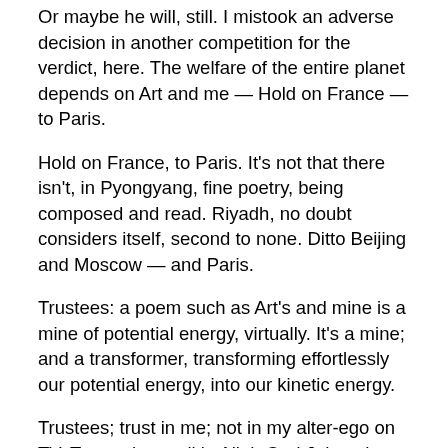Or maybe he will, still. I mistook an adverse decision in another competition for the verdict, here. The welfare of the entire planet depends on Art and me — Hold on France — to Paris.
Hold on France, to Paris. It’s not that there isn’t, in Pyongyang, fine poetry, being composed and read. Riyadh, no doubt considers itself, second to none. Ditto Beijing and Moscow — and Paris.
Trustees: a poem such as Art’s and mine is a mine of potential energy, virtually. It’s a mine; and a transformer, transforming effortlessly our potential energy, into our kinetic energy.
Trustees; trust in me; not in my alter-ego on TV. Trust, above all in Allah God Jehovah Yahweh. Do your part. Award Art the Amy Lowell Traveling Scholarship.